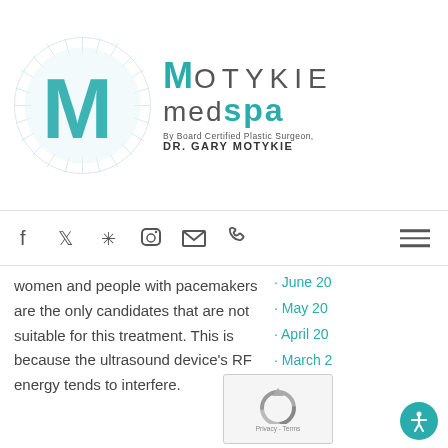[Figure (logo): Motykie MedSpa logo with circular radiating design and teal M letter, 'By Board Certified Plastic Surgeon, DR. GARY MOTYKIE']
[Figure (other): Navigation icon bar with social media icons: Facebook, Twitter, Yelp, Instagram, Email, Phone, and hamburger menu]
women and people with pacemakers are the only candidates that are not suitable for this treatment. This is because the ultrasound device's RF energy tends to interfere.
June 20
May 20
April 20
March 2
January